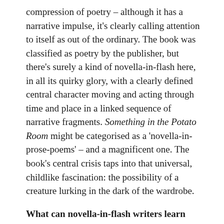compression of poetry – although it has a narrative impulse, it's clearly calling attention to itself as out of the ordinary. The book was classified as poetry by the publisher, but there's surely a kind of novella-in-flash here, in all its quirky glory, with a clearly defined central character moving and acting through time and place in a linked sequence of narrative fragments. Something in the Potato Room might be categorised as a 'novella-in-prose-poems' – and a magnificent one. The book's central crisis taps into that universal, childlike fascination: the possibility of a creature lurking in the dark of the wardrobe.
What can novella-in-flash writers learn from this book?
(1) Prose Poetry: Something in the Potato Room is full of unusual prose, more akin to poetry. Cousins